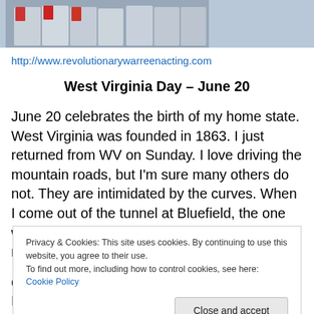[Figure (photo): Partial view of Revolutionary War reenactors in period military uniforms]
http://www.revolutionarywarreenacting.com
West Virginia Day – June 20
June 20 celebrates the birth of my home state. West Virginia was founded in 1863. I just returned from WV on Sunday. I love driving the mountain roads, but I'm sure many others do not. They are intimidated by the curves. When I come out of the tunnel at Bluefield, the one which separates West Virginia from Virginia, my heart always
Privacy & Cookies: This site uses cookies. By continuing to use this website, you agree to their use.
To find out more, including how to control cookies, see here: Cookie Policy
Close and accept
diverged culturally from their first years of European